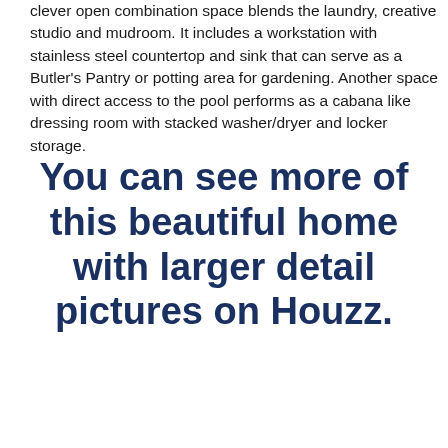clever open combination space blends the laundry, creative studio and mudroom. It includes a workstation with stainless steel countertop and sink that can serve as a Butler's Pantry or potting area for gardening. Another space with direct access to the pool performs as a cabana like dressing room with stacked washer/dryer and locker storage.
You can see more of this beautiful home with larger detail pictures on Houzz.